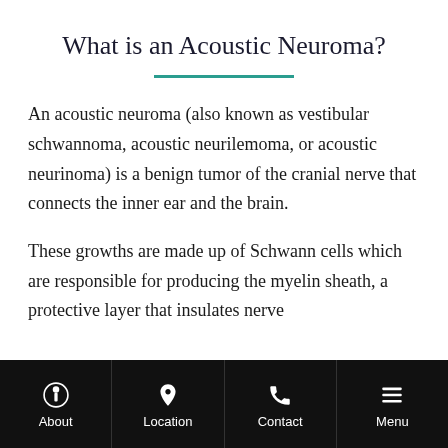What is an Acoustic Neuroma?
An acoustic neuroma (also known as vestibular schwannoma, acoustic neurilemoma, or acoustic neurinoma) is a benign tumor of the cranial nerve that connects the inner ear and the brain.
These growths are made up of Schwann cells which are responsible for producing the myelin sheath, a protective layer that insulates nerve
About | Location | Contact | Menu